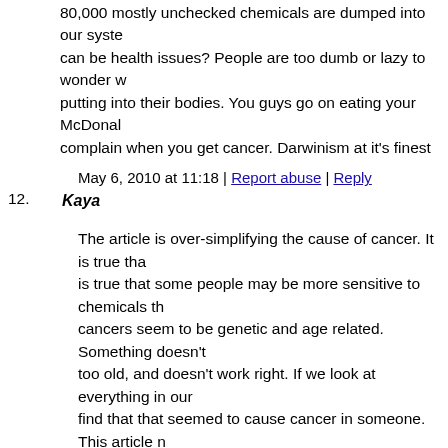80,000 mostly unchecked chemicals are dumped into our system, there can be health issues? People are too dumb or lazy to wonder what they're putting into their bodies. You guys go on eating your McDonalds and then complain when you get cancer. Darwinism at it's finest
May 6, 2010 at 11:18 | Report abuse | Reply
12. Kaya
The article is over-simplifying the cause of cancer. It is true that it is true that some people may be more sensitive to chemicals than others, cancers seem to be genetic and age related. Something doesn't work when too old, and doesn't work right. If we look at everything in our diet we'd find that that seemed to cause cancer in someone. This article more or stay inside, it doesn't really do anything else.
May 6, 2010 at 11:20 | Report abuse | Reply
13. Paracelsus
All things are toxic. The dose determines which are poisons.
May 6, 2010 at 11:21 | Report abuse | Reply
14. Justin
OK Starbuck, by that logic, lets just bring back the asbestos. T we all worried about anyway? Silly physicians with all of their Blablabla. So what if they've tried to save a few old lives from